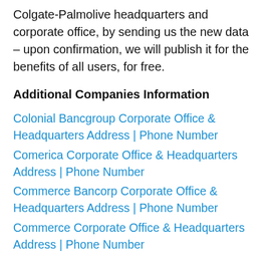Colgate-Palmolive headquarters and corporate office, by sending us the new data – upon confirmation, we will publish it for the benefits of all users, for free.
Additional Companies Information
Colonial Bancgroup Corporate Office & Headquarters Address | Phone Number
Comerica Corporate Office & Headquarters Address | Phone Number
Commerce Bancorp Corporate Office & Headquarters Address | Phone Number
Commerce Corporate Office & Headquarters Address | Phone Number